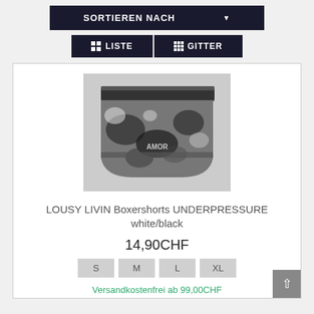SORTIEREN NACH
LISTE   GITTER
[Figure (photo): Black and white patterned boxer shorts with floral/graphic print, displayed on white background]
LOUSY LIVIN Boxershorts UNDERPRESSURE white/black
14,90CHF
S  M  L  XL
Versandkostenfrei ab 99,00CHF